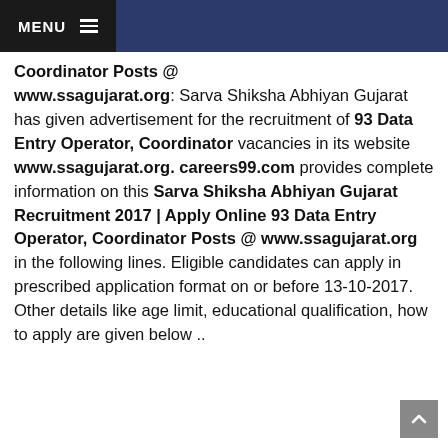MENU
Coordinator Posts @ www.ssagujarat.org: Sarva Shiksha Abhiyan Gujarat has given advertisement for the recruitment of 93 Data Entry Operator, Coordinator vacancies in its website www.ssagujarat.org. careers99.com provides complete information on this Sarva Shiksha Abhiyan Gujarat Recruitment 2017 | Apply Online 93 Data Entry Operator, Coordinator Posts @ www.ssagujarat.org in the following lines. Eligible candidates can apply in prescribed application format on or before 13-10-2017. Other details like age limit, educational qualification, how to apply are given below ..